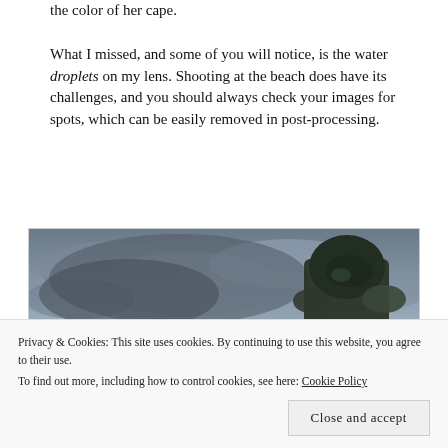the color of her cape.
What I missed, and some of you will notice, is the water droplets on my lens. Shooting at the beach does have its challenges, and you should always check your images for spots, which can be easily removed in post-processing.
[Figure (photo): A costumed figure wearing a dark helmet and armor stands against a dramatic cloudy sky at the beach; lower portion shows additional scene elements.]
Privacy & Cookies: This site uses cookies. By continuing to use this website, you agree to their use.
To find out more, including how to control cookies, see here: Cookie Policy
Close and accept